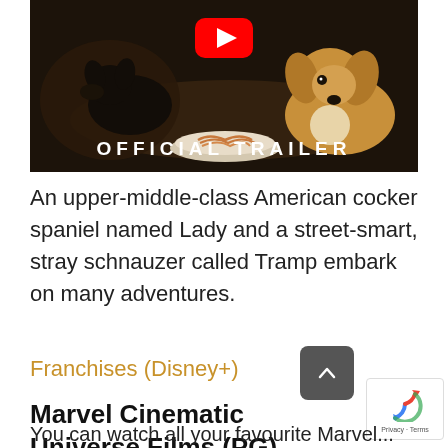[Figure (screenshot): YouTube video thumbnail for Lady and the Tramp official trailer, showing two dogs (Lady and Tramp) with a plate of spaghetti, overlaid with 'OFFICIAL TRAILER' text and a YouTube play button]
An upper-middle-class American cocker spaniel named Lady and a street-smart, stray schnauzer called Tramp embark on many adventures.
Franchises (Disney+)
Marvel Cinematic Universe Films (PG)
You can watch all your favourite Marvel...